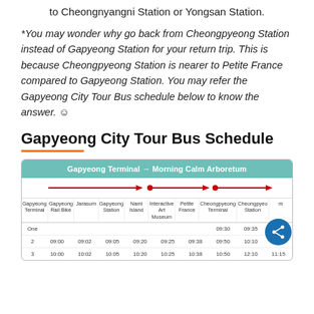to Cheongnyangni Station or Yongsan Station.
*You may wonder why go back from Cheongpyeong Station instead of Gapyeong Station for your return trip. This is because Cheongpyeong Station is nearer to Petite France compared to Gapyeong Station. You may refer the Gapyeong City Tour Bus schedule below to know the answer. ☺
Gapyeong City Tour Bus Schedule
| Gapyeong Terminal | Gapyeong Rail Bike | Jarasum | Gapyeong Station | Nami Island | Interactive Art Museum | Petite France | Cheongpyeong Terminal | Cheongpyeong Station |  |
| --- | --- | --- | --- | --- | --- | --- | --- | --- | --- |
| One |  |  |  |  |  |  | 09:30 | 09:35 | 09:55 |
| 2 | 09:00 | 09:02 | 09:05 | 09:20 | 09:25 | 09:38 | 09:50 | 10:10 | 10:15 | 10:35 |
| 3 | 10:00 | 10:02 | 10:05 | 10:20 | 10:25 | 10:38 | 10:50 | 12:10 | 11:15 | 11:35 |